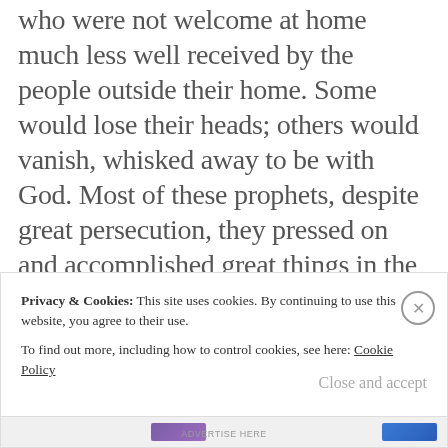who were not welcome at home much less well received by the people outside their home. Some would lose their heads; others would vanish, whisked away to be with God. Most of these prophets, despite great persecution, they pressed on and accomplished great things in the name of the God whose truths they were willing to speak.
Privacy & Cookies: This site uses cookies. By continuing to use this website, you agree to their use. To find out more, including how to control cookies, see here: Cookie Policy
Close and accept